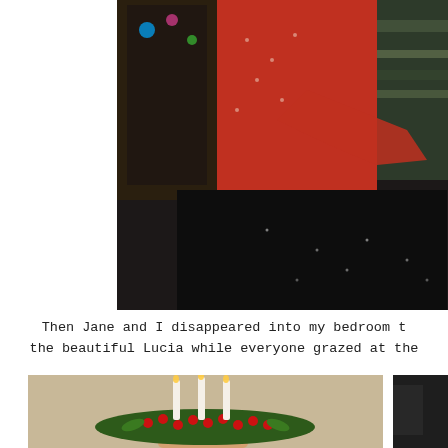[Figure (photo): Two people embracing indoors near a window. One wears a red polka-dot top with a black tulle skirt, the other wears a Fair Isle patterned sweater. Christmas lights visible in background window.]
Then Jane and I disappeared into my bedroom t the beautiful Lucia while everyone grazed at the
[Figure (photo): A Lucia crown made of greenery and red berries with white taper candles, held in someone's hand.]
[Figure (photo): Partially visible person on dark background.]